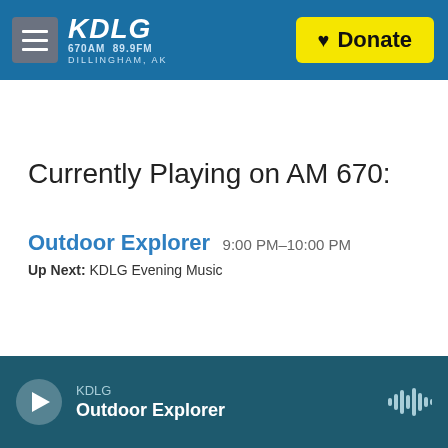KDLG 670AM 89.9FM DILLINGHAM, AK
Currently Playing on AM 670:
Outdoor Explorer 9:00 PM–10:00 PM
Up Next: KDLG Evening Music
KDLG Outdoor Explorer